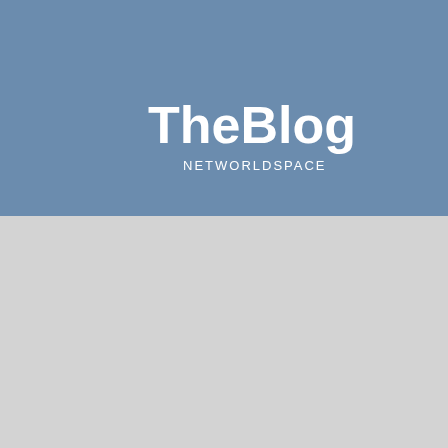[Figure (logo): Blog header banner with blue-grey background showing 'TheBlog' in large white bold text and 'NETWORLDSPACE' subtitle below it]
« Journées des Communautés Microsoft France
MICROSOFT TECHDAYS 2012, 7-9 fév-Palais des C…
SAFER INTERNET DAY (SID)2012
SID 2012